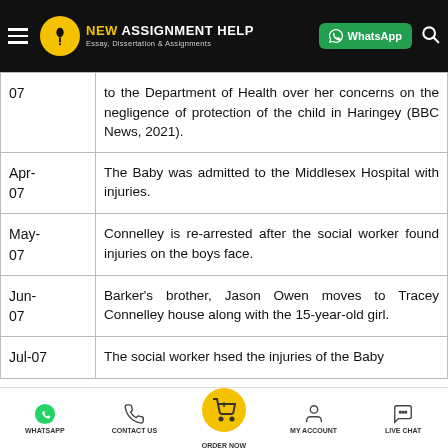NEW ASSIGNMENT HELP — Essay, Dissertation & Assignments
| Date | Event |
| --- | --- |
| 07 | to the Department of Health over her concerns on the negligence of protection of the child in Haringey (BBC News, 2021). |
| Apr-07 | The Baby was admitted to the Middlesex Hospital with injuries. |
| May-07 | Connelley is re-arrested after the social worker found injuries on the boys face. |
| Jun-07 | Barker's brother, Jason Owen moves to Tracey Connelley house along with the 15-year-old girl. |
| Jul-07 | The social worker h…sed the injuries of the Baby |
WHATSAPP   CONTACT US   ORDER NOW   MY ACCOUNT   LIVE CHAT